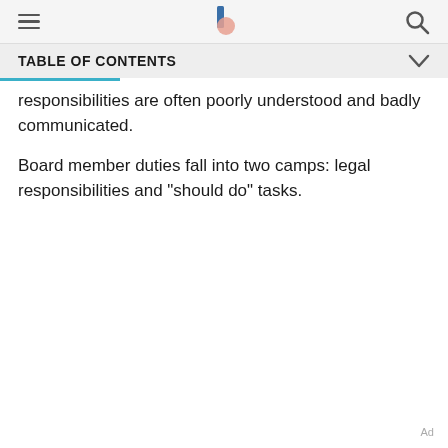TABLE OF CONTENTS
responsibilities are often poorly understood and badly communicated.
Board member duties fall into two camps: legal responsibilities and "should do" tasks.
Ad